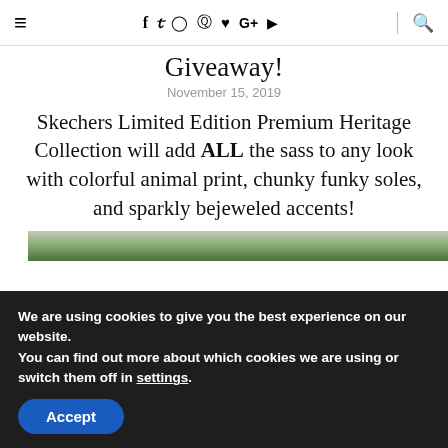≡  f  𝕏  ◎   pinterest  ♥  G+  ▶  🔍
Giveaway!
November 15, 2019
Skechers Limited Edition Premium Heritage Collection will add ALL the sass to any look with colorful animal print, chunky funky soles, and sparkly bejeweled accents!
[Figure (photo): Partial view of a photo showing outdoor greenery/trees]
We are using cookies to give you the best experience on our website.
You can find out more about which cookies we are using or switch them off in settings.
Accept